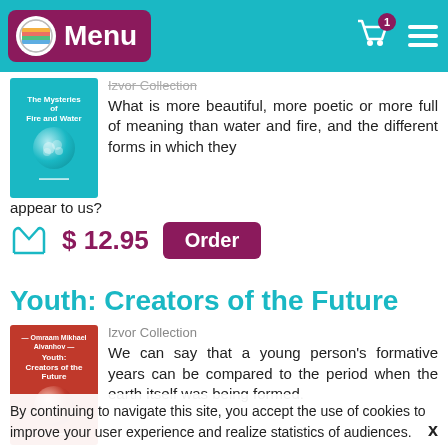Menu | Cart | Hamburger menu
Izvor Collection
What is more beautiful, more poetic or more full of meaning than water and fire, and the different forms in which they appear to us?
$ 12.95
Order
Youth: Creators of the Future
Izvor Collection
We can say that a young person's formative years can be compared to the period when the earth itself was being formed.
$ 12.95
Order
By continuing to navigate this site, you accept the use of cookies to improve your user experience and realize statistics of audiences.